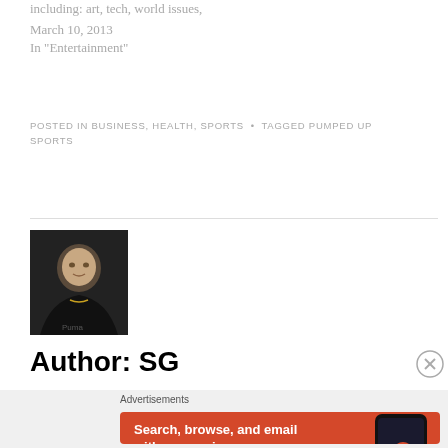including: art, tech, world issues,
March 10, 2013
In "Entertainment"
POSTED IN BUSINESS, HEALTH, SPORTS • TAGGED PUMPED UP SPORTS
[Figure (photo): Author profile photo showing a young man wearing a dark shirt and chain necklace]
Author: SG
[Figure (infographic): DuckDuckGo advertisement banner: 'Search, browse, and email with more privacy. All in One Free App' with DuckDuckGo logo and phone image on orange background]